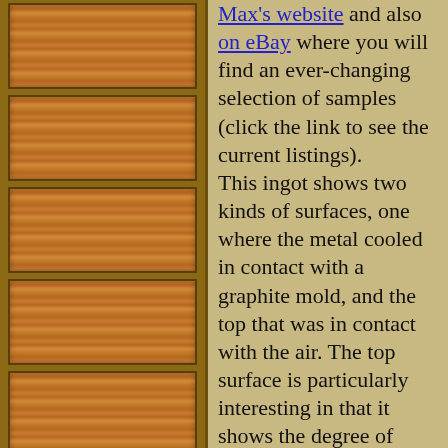[Figure (photo): Left column of wood-grain texture tiles stacked vertically, brownish-orange color with horizontal grain lines]
Max's website and also on eBay where you will find an ever-changing selection of samples (click the link to see the current listings). This ingot shows two kinds of surfaces, one where the metal cooled in contact with a graphite mold, and the top that was in contact with the air. The top surface is particularly interesting in that it shows the degree of contraction when the metal cools (which shows as a depression in the case of aluminum), and sometimes crystal structures that give the surface a wrinkled appearance